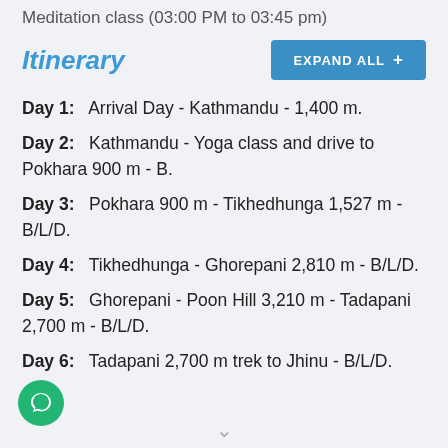Meditation class (03:00 PM to 03:45 pm)
Itinerary
Day 1:   Arrival Day - Kathmandu - 1,400 m.
Day 2:   Kathmandu - Yoga class and drive to Pokhara 900 m - B.
Day 3:   Pokhara 900 m - Tikhedhunga 1,527 m - B/L/D.
Day 4:   Tikhedhunga - Ghorepani 2,810 m - B/L/D.
Day 5:   Ghorepani - Poon Hill 3,210 m - Tadapani 2,700 m - B/L/D.
Day 6:   Tadapani 2,700 m trek to Jhinu - B/L/D.